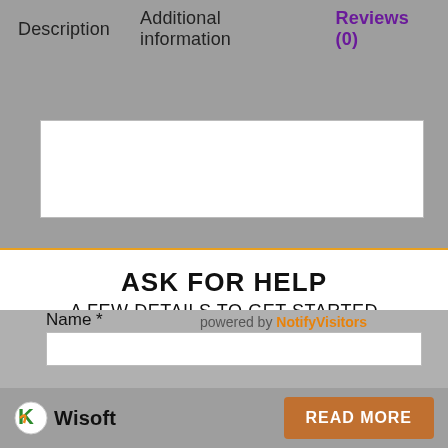Description   Additional information   Reviews (0)
ASK FOR HELP
A FEW DETAILS TO GET STARTED
Submit
Name *
powered by NotifyVisitors
[Figure (logo): Wisoft logo with stylized K icon and text 'Wisoft']
READ MORE